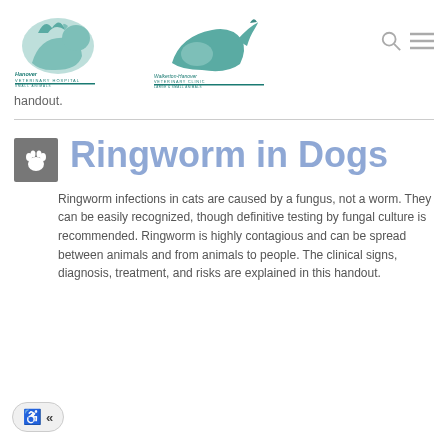[Figure (logo): Hanover Veterinary Hospital Small Animals logo with teal animal silhouettes]
[Figure (logo): Walkerton-Hanover Veterinary Clinic Large & Small Animals logo with teal animal silhouettes]
handout.
Ringworm in Dogs
Ringworm infections in cats are caused by a fungus, not a worm. They can be easily recognized, though definitive testing by fungal culture is recommended. Ringworm is highly contagious and can be spread between animals and from animals to people. The clinical signs, diagnosis, treatment, and risks are explained in this handout.